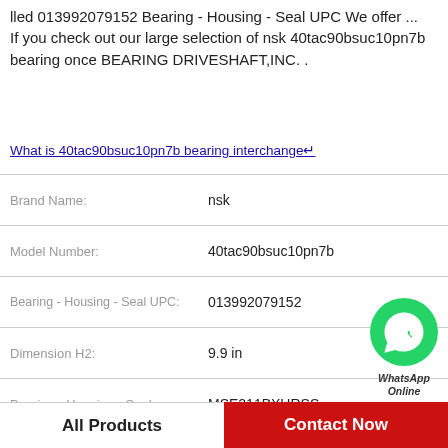lled 013992079152 Bearing - Housing - Seal UPC We offer ... If you check out our large selection of nsk 40tac90bsuc10pn7b bearing once BEARING DRIVESHAFT,INC. .
What is 40tac90bsuc10pn7b bearing interchange↵
| Property | Value |
| --- | --- |
| Brand Name: | nsk |
| Model Number: | 40tac90bsuc10pn7b |
| Bearing - Housing - Seal UPC: | 013992079152 |
| Dimension H2: | 9.9 in |
| Bearing - Housing - Seal: | MSE211BXHRSS |
| Bearing Type: | Split Cylindrical Ex |
| Dimension H1: | 1.7 in |
[Figure (logo): WhatsApp Online green circle icon with phone handset, labeled WhatsApp Online]
All Products    Contact Now